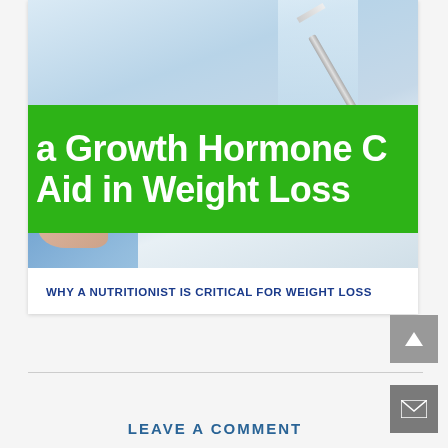[Figure (photo): Medical photo showing a person in a blue coat with a pen or syringe, with a green banner overlay reading 'a Growth Hormone C Aid in Weight Loss']
a Growth Hormone C Aid in Weight Loss
WHY A NUTRITIONIST IS CRITICAL FOR WEIGHT LOSS
LEAVE A COMMENT